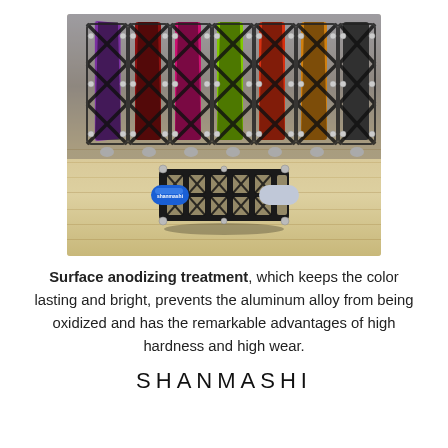[Figure (photo): Multiple colorful bicycle pedals (purple, red, pink, green, orange, gold) standing upright in a row on a wooden surface, with a single blue pedal laying flat in the foreground. The pedals are black lattice/cage-style with colored axles branded with the Shanmashi logo.]
Surface anodizing treatment, which keeps the color lasting and bright, prevents the aluminum alloy from being oxidized and has the remarkable advantages of high hardness and high wear.
SHANMASHI